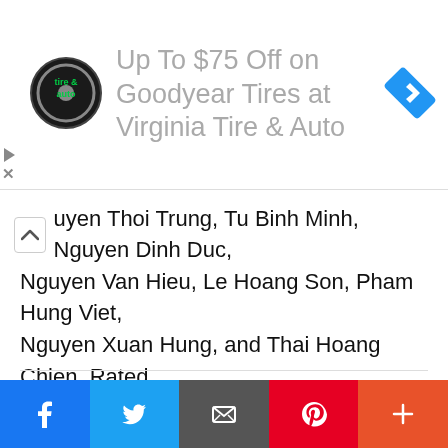[Figure (infographic): Advertisement banner for Virginia Tire & Auto: Up To $75 Off on Goodyear Tires at Virginia Tire & Auto, with circular tire & auto logo on left and blue diamond navigation icon on right]
uyen Thoi Trung, Tu Binh Minh, Nguyen Dinh Duc, Nguyen Van Hieu, Le Hoang Son, Pham Hung Viet, Nguyen Xuan Hung, and Thai Hoang Chien. Rated ... [Read more...]
Filed Under: Uncategorized
vietnam scientist, research.com, Vietnam National University, ton duc thang university, vietnamese a names, m vietnamese boy names, vietnamese last
[Figure (infographic): Social share bar at bottom with Facebook (blue), Twitter (light blue), Email (dark gray), Pinterest (red), and More (orange-red) buttons]